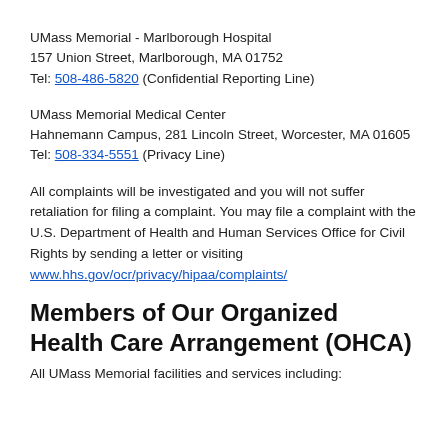UMass Memorial - Marlborough Hospital
157 Union Street, Marlborough, MA 01752
Tel: 508-486-5820 (Confidential Reporting Line)
UMass Memorial Medical Center
Hahnemann Campus, 281 Lincoln Street, Worcester, MA 01605
Tel: 508-334-5551 (Privacy Line)
All complaints will be investigated and you will not suffer retaliation for filing a complaint. You may file a complaint with the U.S. Department of Health and Human Services Office for Civil Rights by sending a letter or visiting www.hhs.gov/ocr/privacy/hipaa/complaints/
Members of Our Organized Health Care Arrangement (OHCA)
All UMass Memorial facilities and services including: